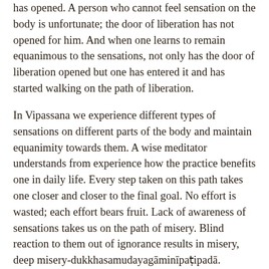has opened. A person who cannot feel sensation on the body is unfortunate; the door of liberation has not opened for him. And when one learns to remain equanimous to the sensations, not only has the door of liberation opened but one has entered it and has started walking on the path of liberation.
In Vipassana we experience different types of sensations on different parts of the body and maintain equanimity towards them. A wise meditator understands from experience how the practice benefits one in daily life. Every step taken on this path takes one closer and closer to the final goal. No effort is wasted; each effort bears fruit. Lack of awareness of sensations takes us on the path of misery. Blind reaction to them out of ignorance results in misery, deep misery-dukkhasamudayagāminīpaṭipadā. Awareness of sensations and equanimity towards them takes us on the path that leads to liberation from all suffering-dukkhanirodhagāminīpaṭipadā. If we experience